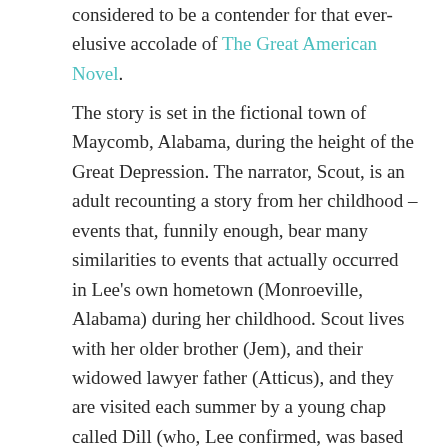considered to be a contender for that ever-elusive accolade of The Great American Novel.
The story is set in the fictional town of Maycomb, Alabama, during the height of the Great Depression. The narrator, Scout, is an adult recounting a story from her childhood – events that, funnily enough, bear many similarities to events that actually occurred in Lee's own hometown (Monroeville, Alabama) during her childhood. Scout lives with her older brother (Jem), and their widowed lawyer father (Atticus), and they are visited each summer by a young chap called Dill (who, Lee confirmed, was based on her friend Capote). The three children basically run amok around the town, as you could in those days, and they become a bit obsessed with their recluse neighbour, Arthur "Boo" Radley. Meanwhile, a local judge assigns papa Atticus a very